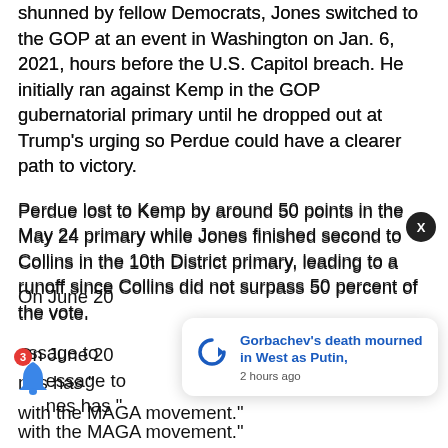shunned by fellow Democrats, Jones switched to the GOP at an event in Washington on Jan. 6, 2021, hours before the U.S. Capitol breach. He initially ran against Kemp in the GOP gubernatorial primary until he dropped out at Trump's urging so Perdue could have a clearer path to victory.
Perdue lost to Kemp by around 50 points in the May 24 primary while Jones finished second to Collins in the 10th District primary, leading to a runoff since Collins did not surpass 50 percent of the vote.
On June 20... essage to... nes has "... with the MAGA movement."
[Figure (screenshot): Push notification popup from 'updatem' app reading: "Gorbachev's death mourned in West as Putin," with timestamp '2 hours ago', displayed over the article content. A close button (X) appears top-right of the popup. A bell icon with red badge showing '3' appears at bottom-left.]